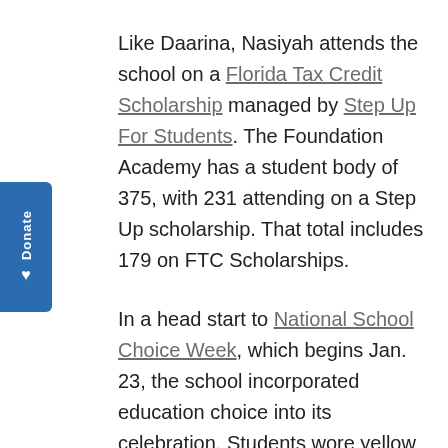Like Daarina, Nasiyah attends the school on a Florida Tax Credit Scholarship managed by Step Up For Students. The Foundation Academy has a student body of 375, with 231 attending on a Step Up scholarship. That total includes 179 on FTC Scholarships.
In a head start to National School Choice Week, which begins Jan. 23, the school incorporated education choice into its celebration. Students wore yellow National School Choice Week scarves. Those in the elementary grades who rode on the float wore orange T-shirts from Step Up that included the words “Parent Power.”